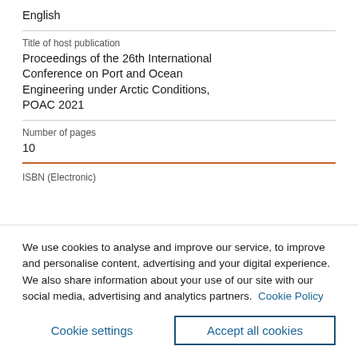English
Title of host publication
Proceedings of the 26th International Conference on Port and Ocean Engineering under Arctic Conditions, POAC 2021
Number of pages
10
ISBN (Electronic)
We use cookies to analyse and improve our service, to improve and personalise content, advertising and your digital experience. We also share information about your use of our site with our social media, advertising and analytics partners.  Cookie Policy
Cookie settings
Accept all cookies